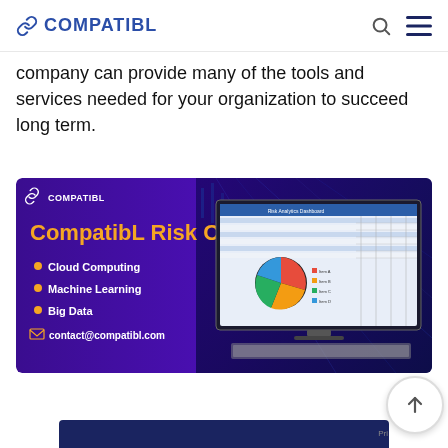COMPATIBL
company can provide many of the tools and services needed for your organization to succeed long term.
[Figure (illustration): CompatibL Risk Cloud promotional banner with purple/blue gradient background showing a desktop monitor with financial software displaying charts and tables. Text reads: CompatibL Risk Cloud, Cloud Computing, Machine Learning, Big Data, contact@compatibl.com]